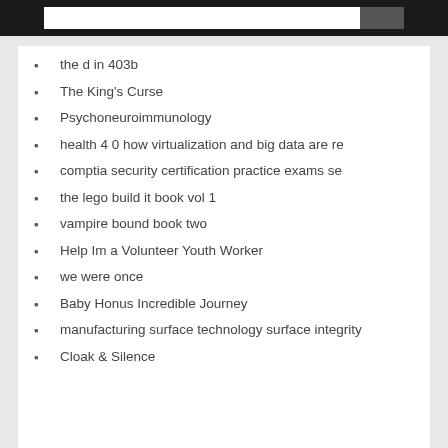the d in 403b
The King's Curse
Psychoneuroimmunology
health 4 0 how virtualization and big data are re
comptia security certification practice exams se
the lego build it book vol 1
vampire bound book two
Help Im a Volunteer Youth Worker
we were once
Baby Honus Incredible Journey
manufacturing surface technology surface integrity
Cloak & Silence